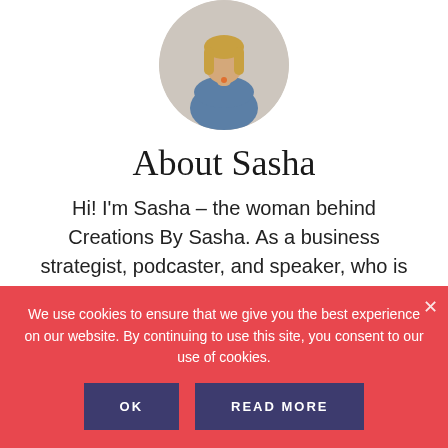[Figure (photo): Circular portrait photo of a blonde woman with arms crossed, wearing a blue top]
About Sasha
Hi! I'm Sasha – the woman behind Creations By Sasha. As a business strategist, podcaster, and speaker, who is fiercely independent, my goal is to empower all women to pursue their
We use cookies to ensure that we give you the best experience on our website. By continuing to use this site, you consent to our use of cookies.
OK
READ MORE